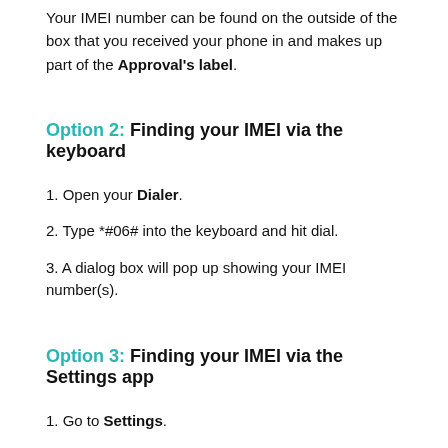Your IMEI number can be found on the outside of the box that you received your phone in and makes up part of the Approval's label.
Option 2: Finding your IMEI via the keyboard
1. Open your Dialer.
2. Type *#06# into the keyboard and hit dial.
3. A dialog box will pop up showing your IMEI number(s).
Option 3: Finding your IMEI via the Settings app
1. Go to Settings.
2. Scroll to the bottom and tap About phone.